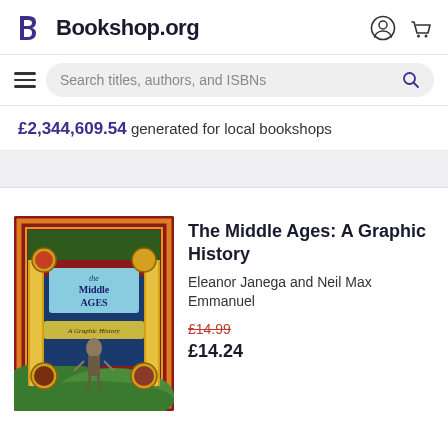Bookshop.org
Search titles, authors, and ISBNs
£2,344,609.54 generated for local bookshops
[Figure (photo): Book cover of 'The Middle Ages: A Graphic History' with medieval illustration art, dark red background, featuring a medieval knight and decorative golden columns]
The Middle Ages: A Graphic History
Eleanor Janega and Neil Max Emmanuel
£14.99 (original price, struck through) £14.24